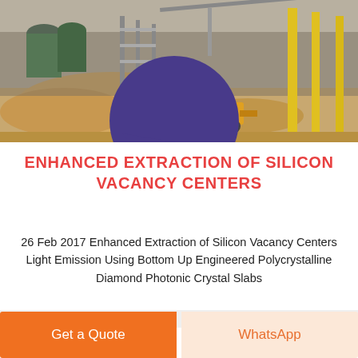[Figure (photo): Industrial construction site with a front loader, mounds of earth/sand, metal silos, scaffolding and cranes in the background, yellow steel columns visible on the right]
ENHANCED EXTRACTION OF SILICON VACANCY CENTERS
26 Feb 2017 Enhanced Extraction of Silicon Vacancy Centers Light Emission Using Bottom Up Engineered Polycrystalline Diamond Photonic Crystal Slabs
Get a Quote
WhatsApp